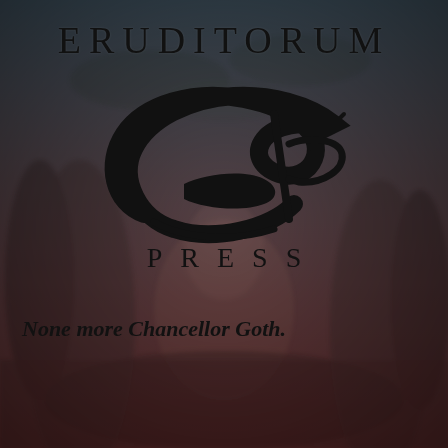[Figure (logo): Background image showing a dark cave or forest scene with muted reddish-brown and grey-teal tones, overlaid with the Eruditorum Press logo — a stylized cursive 'EP' monogram in black.]
ERUDITORUM
[Figure (logo): Stylized cursive 'EP' monogram logo in black — a sweeping oval E combined with a decorative P with flourishes.]
PRESS
None more Chancellor Goth.